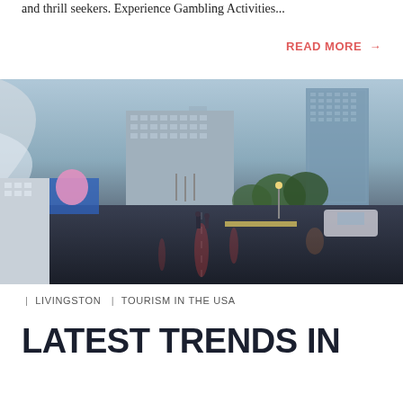and thrill seekers. Experience Gambling Activities...
READ MORE →
[Figure (photo): Rainy cityscape of New York City street with tall skyscrapers, people walking with umbrellas reflected on wet pavement, flags, and city lights at dusk]
| LIVINGSTON  | TOURISM IN THE USA
LATEST TRENDS IN